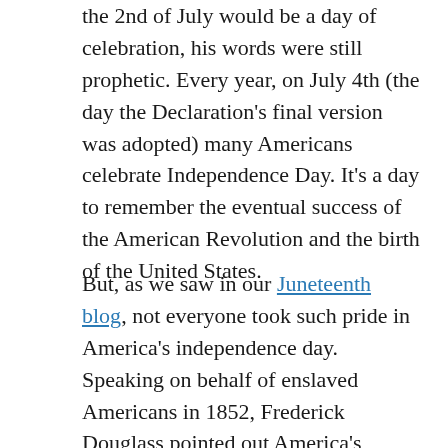the 2nd of July would be a day of celebration, his words were still prophetic. Every year, on July 4th (the day the Declaration's final version was adopted) many Americans celebrate Independence Day. It's a day to remember the eventual success of the American Revolution and the birth of the United States.
But, as we saw in our Juneteenth blog, not everyone took such pride in America's independence day. Speaking on behalf of enslaved Americans in 1852, Frederick Douglass pointed out America's hypocrisy in celebrating its own independence while it continued to strengthen human chattel slavery within its borders. Speaking to hundreds in Rochester,